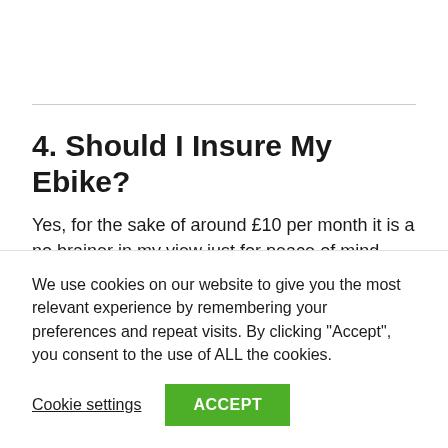4. Should I Insure My Ebike?
Yes, for the sake of around £10 per month it is a no brainer in my view just for peace of mind, especially if you regularly commute into the city and want to keep your bike in...
We use cookies on our website to give you the most relevant experience by remembering your preferences and repeat visits. By clicking "Accept", you consent to the use of ALL the cookies.
Cookie settings
ACCEPT